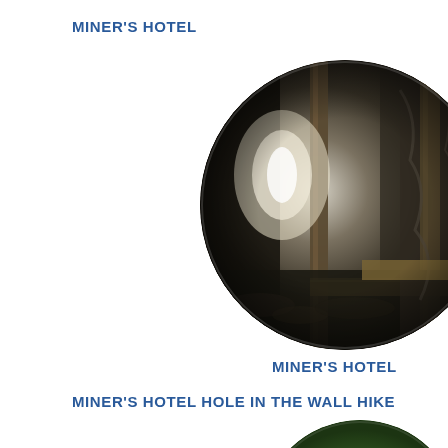MINER'S HOTEL
[Figure (photo): Interior of a historic miner's hotel structure — dark cave-like space with wooden support beams, rocky walls, and a bright doorway opening in the background.]
MINER'S HOTEL
MINER'S HOTEL HOLE IN THE WALL HIKE
[Figure (photo): A circular photo showing green foliage and trees, partially visible at the bottom of the page.]